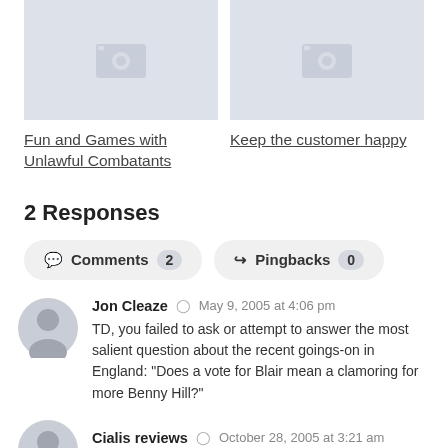[Figure (photo): Two image placeholder boxes with camera icon, side by side]
Fun and Games with Unlawful Combatants
Keep the customer happy
2 Responses
Comments 2   Pingbacks 0
Jon Cleaze ● May 9, 2005 at 4:06 pm
TD, you failed to ask or attempt to answer the most salient question about the recent goings-on in England: "Does a vote for Blair mean a clamoring for more Benny Hill?"
Cialis reviews ● October 28, 2005 at 3:21 am